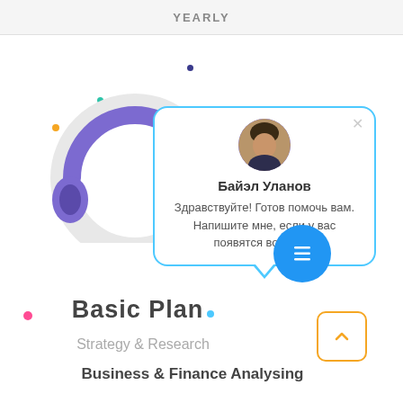YEARLY
[Figure (illustration): Headset/customer support illustration with purple tones, decorative colored dots scattered around the page]
Байэл Уланов
Здравствуйте! Готов помочь вам. Напишите мне, если у вас появятся вопросы.
Basic Plan
Strategy & Research
Business & Finance Analysing